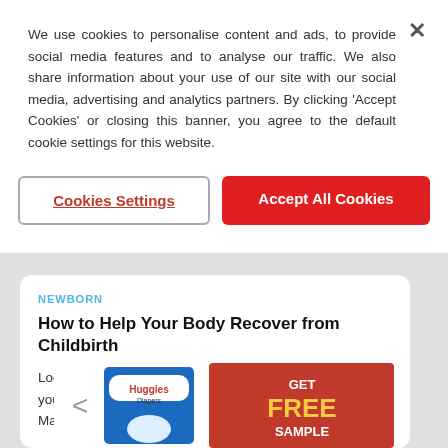We use cookies to personalise content and ads, to provide social media features and to analyse our traffic. We also share information about your use of our site with our social media, advertising and analytics partners. By clicking 'Accept Cookies' or closing this banner, you agree to the default cookie settings for this website.
Cookies Settings
Accept All Cookies
NEWBORN
How to Help Your Body Recover from Childbirth
Looking after yourself is just as important as looking after your new baby. With confinement practiced by Chinese, Malays and...
[Figure (infographic): Huggies Diapers product package with 'GET FREE SAMPLE' promotional banner in red and gold on the right side, with a left navigation arrow]